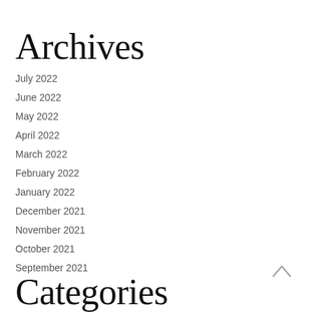Archives
July 2022
June 2022
May 2022
April 2022
March 2022
February 2022
January 2022
December 2021
November 2021
October 2021
September 2021
Categories